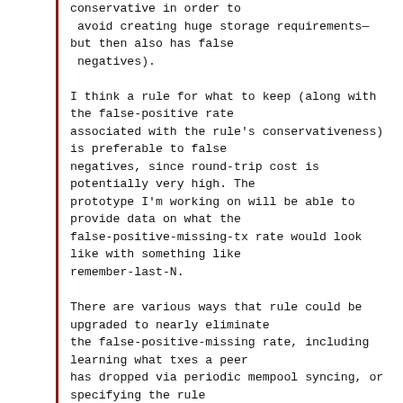conservative in order to
 avoid creating huge storage requirements—
but then also has false
 negatives).

I think a rule for what to keep (along with
the false-positive rate
associated with the rule's conservativeness)
is preferable to false
negatives, since round-trip cost is
potentially very high. The
prototype I'm working on will be able to
provide data on what the
false-positive-missing-tx rate would look
like with something like
remember-last-N.

There are various ways that rule could be
upgraded to nearly eliminate
the false-positive-missing rate, including
learning what txes a peer
has dropped via periodic mempool syncing, or
specifying the rule